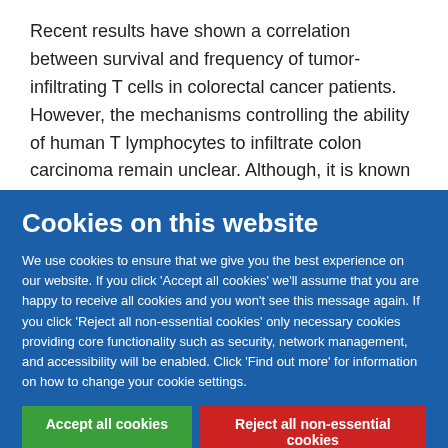Recent results have shown a correlation between survival and frequency of tumor-infiltrating T cells in colorectal cancer patients. However, the mechanisms controlling the ability of human T lymphocytes to infiltrate colon carcinoma remain unclear. Although, it is known that expression of the integrin
Cookies on this website
We use cookies to ensure that we give you the best experience on our website. If you click 'Accept all cookies' we'll assume that you are happy to receive all cookies and you won't see this message again. If you click 'Reject all non-essential cookies' only necessary cookies providing core functionality such as security, network management, and accessibility will be enabled. Click 'Find out more' for information on how to change your cookie settings.